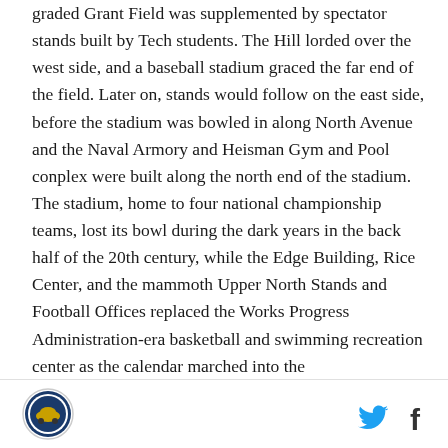graded Grant Field was supplemented by spectator stands built by Tech students. The Hill lorded over the west side, and a baseball stadium graced the far end of the field. Later on, stands would follow on the east side, before the stadium was bowled in along North Avenue and the Naval Armory and Heisman Gym and Pool conplex were built along the north end of the stadium. The stadium, home to four national championship teams, lost its bowl during the dark years in the back half of the 20th century, while the Edge Building, Rice Center, and the mammoth Upper North Stands and Football Offices replaced the Works Progress Administration-era basketball and swimming recreation center as the calendar marched into the
[logo] [twitter] [facebook]